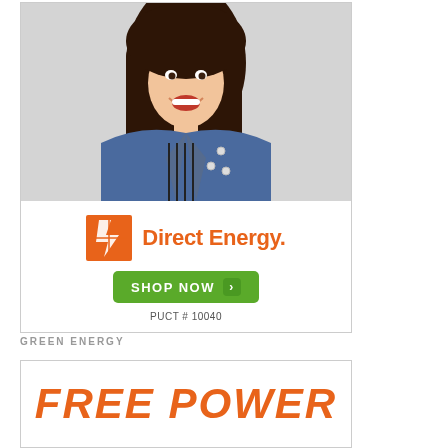[Figure (photo): Advertisement for Direct Energy featuring a smiling young woman with long dark hair wearing a denim jacket, with the Direct Energy logo, a green Shop Now button, and PUCT #10040 text below.]
GREEN ENERGY
[Figure (illustration): Second advertisement panel showing 'FREE POWER' text in large orange italic bold letters on a white background with a border.]